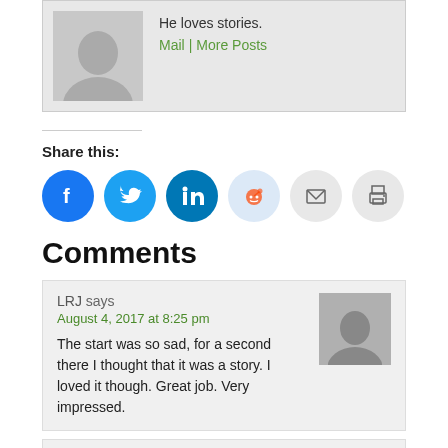[Figure (photo): Author profile picture placeholder with grey silhouette avatar, with text 'He loves stories.' and links 'Mail | More Posts']
He loves stories.
Mail | More Posts
Share this:
[Figure (infographic): Row of social share buttons: Facebook (blue), Twitter (blue), LinkedIn (blue), Reddit (light blue), Email (grey), Print (grey)]
Comments
LRJ says
August 4, 2017 at 8:25 pm

The start was so sad, for a second there I thought that it was a story. I loved it though. Great job. Very impressed.
LRJ says
August 5, 2017 at 3:26 pm

Love the pictures looks like a great game Theo.